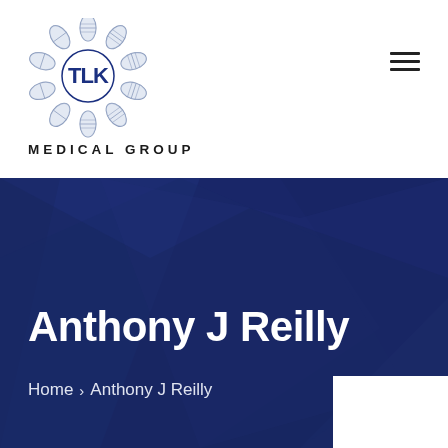[Figure (logo): TLK Medical Group logo — circular DNA helix ring surrounding bold 'TLK' text in dark navy, with 'MEDICAL GROUP' text below in spaced capitals]
Anthony J Reilly
Home > Anthony J Reilly